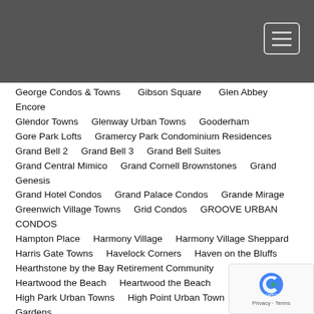George Condos & Towns
Gibson Square
Glen Abbey Encore
Glendor Towns
Glenway Urban Towns
Gooderham
Gore Park Lofts
Gramercy Park Condominium Residences
Grand Bell 2
Grand Bell 3
Grand Bell Suites
Grand Central Mimico
Grand Cornell Brownstones
Grand Genesis
Grand Hotel Condos
Grand Palace Condos
Grande Mirage
Greenwich Village Towns
Grid Condos
GROOVE URBAN CONDOS
Hampton Place
Harmony Village
Harmony Village Sheppard
Harris Gate Towns
Havelock Corners
Haven on the Bluffs
Hearthstone by the Bay Retirement Community
Heartwood the Beach
Heartwood the Beach
High Park Urban Towns
High Point Urban Town
Highbury Gardens
Highcrest at Whitby Shores
Highland Commons Condos 2
Highlights condos
HighPark Condominiums
HIGHWAY 7 & JANE CONDOS
Hillmont at SXSW
Home Condos
HOT Condos
Hounslow Station
Howard Park
Hullmark Centre
Hunt Club Terrace
Huntingdale Towns
ICE Phase I
ICE Phase II
ICONA CONDOS
Imperial Plaza
in.DE Condos
Indigo 2 Condominiums In Maple
Indigo Bay
Indigo Condominiums in the Village of Maple
INDX
Infinity 3
IQ
IQ Condos Phase 3
IQ Condos Phase III
IQ3 Condos